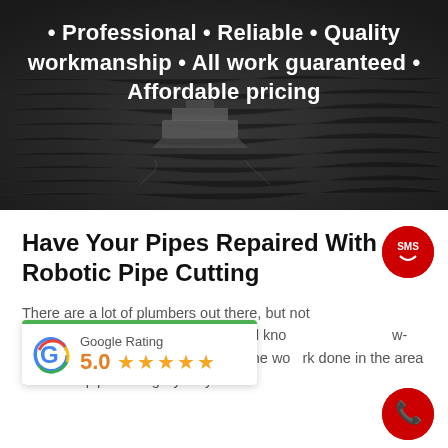[Figure (photo): Dark greyscale aerial photo of a ferry/boat on water with text overlay listing service qualities]
• Professional • Reliable • Quality workmanship • All work guaranteed • Affordable pricing
Have Your Pipes Repaired With Robotic Pipe Cutting
There are a lot of plumbers out there, but not [all have the experience, specialised knowledge, and know-how to answer your needs] and get the work done in the area of robotic pipe cutting Sydney wide.